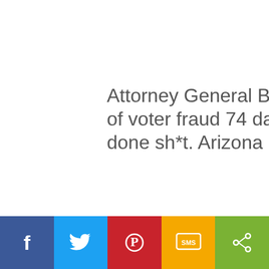Attorney General Brnovich received all evidence of voter fraud 74 days ago and he still hasn't done sh*t. Arizona is tired of waiting.
[Figure (screenshot): Video player thumbnail showing a crowd of people outdoors with trees, partially black loading screen, with a green play button overlay in the center]
[Figure (infographic): Social sharing bar at the bottom with five buttons: Facebook (blue), Twitter (light blue), Pinterest (red), SMS (amber/yellow), Share (green)]